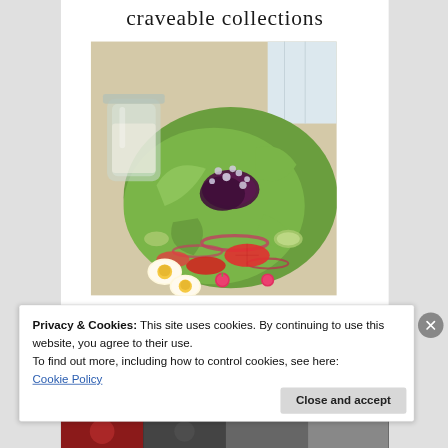craveable collections
[Figure (photo): A colorful salad with beets, tomatoes, hard-boiled eggs, radishes, cucumber, red onion, and blue cheese crumbles, with a glass jar of dressing on the side]
Privacy & Cookies: This site uses cookies. By continuing to use this website, you agree to their use.
To find out more, including how to control cookies, see here:
Cookie Policy
[Figure (photo): Bottom strip showing additional food photography thumbnails]